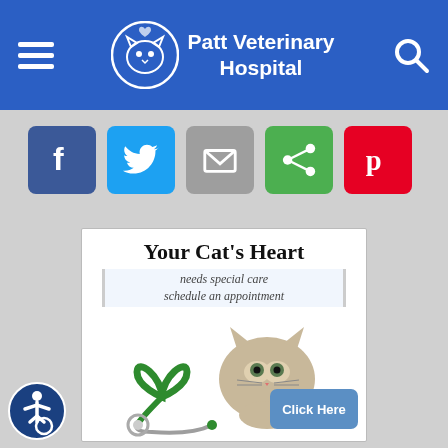Patt Veterinary Hospital
[Figure (infographic): Social media sharing buttons: Facebook (blue), Twitter (light blue), Email (gray), Share (green), Pinterest (red)]
[Figure (illustration): Advertisement card: Your Cat's Heart needs special care schedule an appointment. Shows a kitten and a green stethoscope shaped like a heart. Click Here button.]